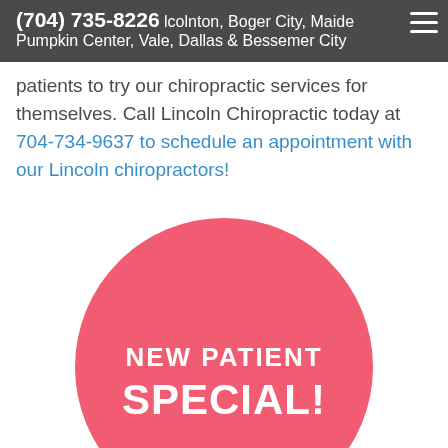(704) 735-8226 Lincolnton, Boger City, Maiden, Pumpkin Center, Vale, Dallas & Bessemer City
patients to try our chiropractic services for themselves. Call Lincoln Chiropractic today at 704-734-9637 to schedule an appointment with our Lincoln chiropractors!
[Figure (illustration): Pink circle badge with white bold text reading 'NEW PATIENT SPECIAL!']